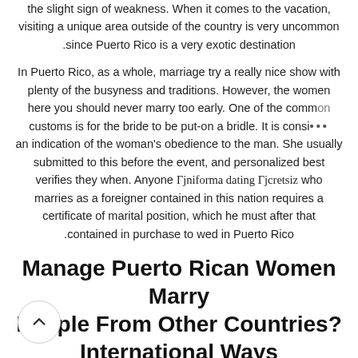the slight sign of weakness. When it comes to the vacation, visiting a unique area outside of the country is very uncommon since Puerto Rico is a very exotic destination.
In Puerto Rico, as a whole, marriage try a really nice show with plenty of the busyness and traditions. However, the women here you should never marry too early. One of the common customs is for the bride to be put-on a bridle. It is considered ••• an indication of the woman's obedience to the man. She usually submitted to this before the event, and personalized best verifies they when. Anyone Гjniforma dating Гjcretsiz who marries as a foreigner contained in this nation requires a certificate of marital position, which he must after that contained in purchase to wed in Puerto Rico.
Manage Puerto Rican Women Marry People From Other Countries? International Ways